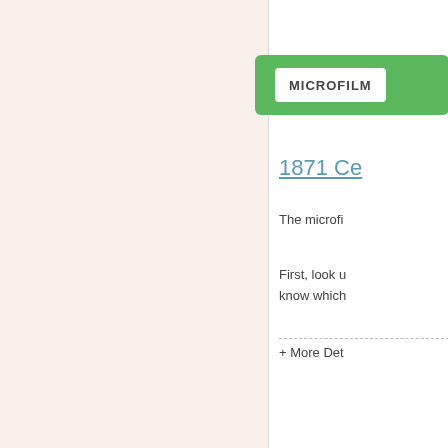MICROFILM
1871 Ce
The microfi
First, look u
know which
+ More Det